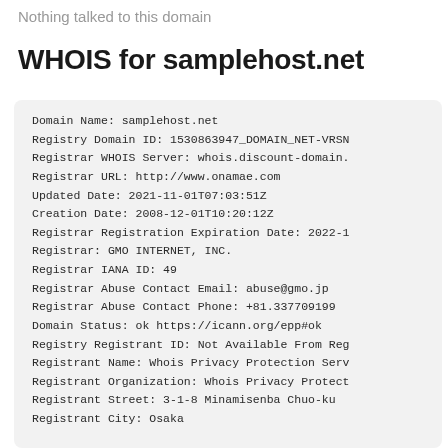Nothing talked to this domain
WHOIS for samplehost.net
Domain Name: samplehost.net
Registry Domain ID: 1530863947_DOMAIN_NET-VRSN
Registrar WHOIS Server: whois.discount-domain.
Registrar URL: http://www.onamae.com
Updated Date: 2021-11-01T07:03:51Z
Creation Date: 2008-12-01T10:20:12Z
Registrar Registration Expiration Date: 2022-1
Registrar: GMO INTERNET, INC.
Registrar IANA ID: 49
Registrar Abuse Contact Email: abuse@gmo.jp
Registrar Abuse Contact Phone: +81.337709199
Domain Status: ok https://icann.org/epp#ok
Registry Registrant ID: Not Available From Reg
Registrant Name: Whois Privacy Protection Serv
Registrant Organization: Whois Privacy Protect
Registrant Street: 3-1-8 Minamisenba Chuo-ku
Registrant City: Osaka